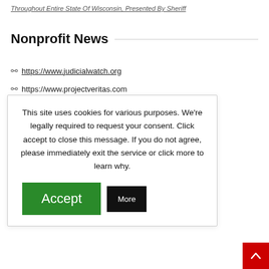Throughout Entire State Of Wisconsin, Presented By Sheriff
Nonprofit News
https://www.judicialwatch.org
https://www.projectveritas.com
This site uses cookies for various purposes. We're legally required to request your consent. Click accept to close this message. If you do not agree, please immediately exit the service or click more to learn why.
Accept  More